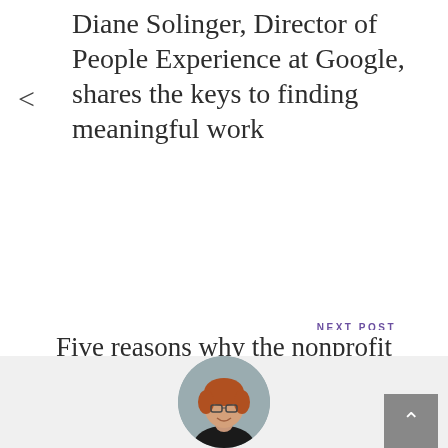Diane Solinger, Director of People Experience at Google, shares the keys to finding meaningful work
NEXT POST
Five reasons why the nonprofit sector may be the perfect fit for you
[Figure (photo): Circular portrait photo of a woman with short red hair and glasses, smiling, wearing a dark top, against a grey background]